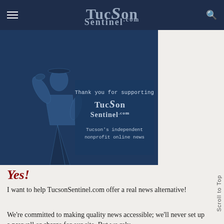TucsonSentinel.com
[Figure (illustration): Dark blue illustration of a man in a suit shading his eyes, with a panel reading 'Thank you for supporting TucsonSentinel.com — Tucson's independent nonprofit online news']
Yes!
I want to help TucsonSentinel.com offer a real news alternative!
We're committed to making quality news accessible; we'll never set up a paywall or charge for our site. But we rely